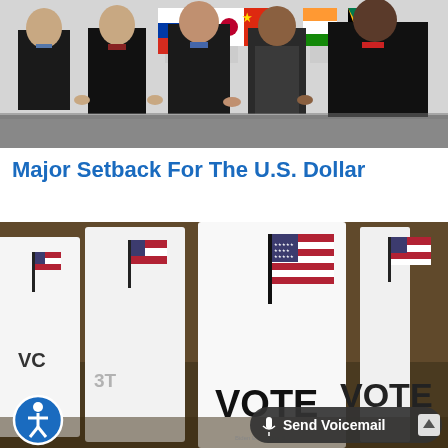[Figure (photo): Five men in dark suits standing together in a formal group photo, with country flags visible in the background on a light gray wall.]
Major Setback For The U.S. Dollar
[Figure (photo): Voting booths with the American flag and the word VOTE printed on them, shown in a row inside a polling location.]